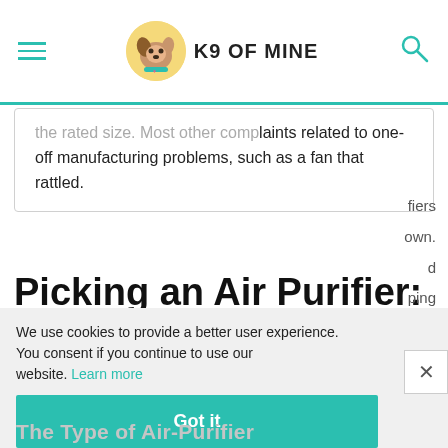K9 OF MINE
the rated size. Most other complaints related to one-off manufacturing problems, such as a fan that rattled.
Picking an Air Purifier: Things to Think About
We use cookies to provide a better user experience. You consent if you continue to use our website. Learn more
fiers own. d ping
The Type of Air-Purifier